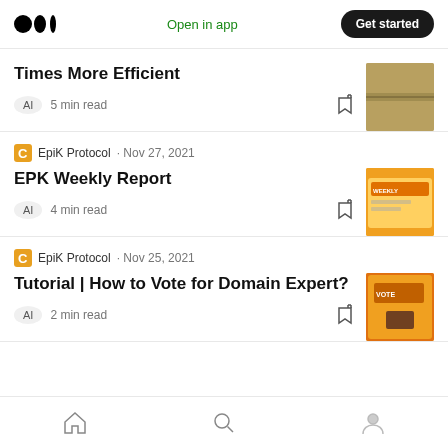Medium logo | Open in app | Get started
Times More Efficient
AI  5 min read
EpiK Protocol · Nov 27, 2021
EPK Weekly Report
AI  4 min read
EpiK Protocol · Nov 25, 2021
Tutorial | How to Vote for Domain Expert?
AI  2 min read
Home | Search | Profile